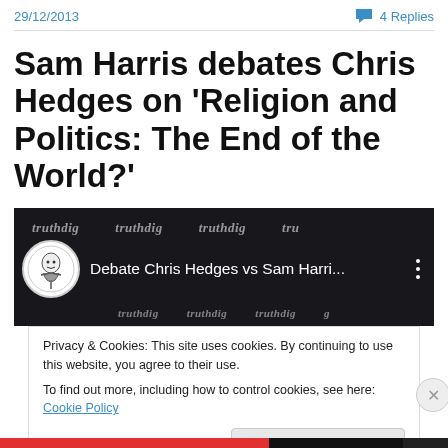29/12/2013    💬 4 Replies
Sam Harris debates Chris Hedges on 'Religion and Politics: The End of the World?'
[Figure (screenshot): YouTube video thumbnail showing 'Debate Chris Hedges vs Sam Harri...' with a circular avatar/logo on the left and a three-dot menu icon on the right, on a dark background with 'truthdig' repeated in the background.]
Privacy & Cookies: This site uses cookies. By continuing to use this website, you agree to their use.
To find out more, including how to control cookies, see here: Cookie Policy
Close and accept